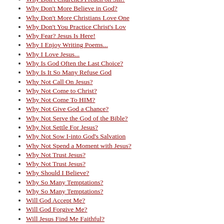Why Don't Churches Preach on Sin?
Why Don't More Believe in God?
Why Don't More Christians Love One
Why Don't You Practice Christ's Lov
Why Fear? Jesus Is Here!
Why I Enjoy Writing Poems...
Why I Love Jesus...
Why Is God Often the Last Choice?
Why Is It So Many Refuse God
Why Not Call On Jesus?
Why Not Come to Christ?
Why Not Come To HIM?
Why Not Give God a Chance?
Why Not Serve the God of the Bible?
Why Not Settle For Jesus?
Why Not Sow I-into God's Salvation
Why Not Spend a Moment with Jesus?
Why Not Trust Jesus?
Why Not Trust Jesus?
Why Should I Believe?
Why So Many Temptations?
Why So Many Temptations?
Will God Accept Me?
Will God Forgive Me?
Will Jesus Find Me Faithful?
Will Others Be Touched by My Prayer
Will Someone Help Me?
Will This Plane Fly Again?
Will You Accept christ today?
Will You Accept Christ's Love?
Will You Accept God's Love?